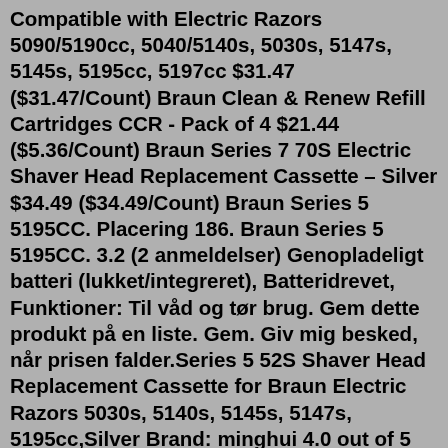Compatible with Electric Razors 5090/5190cc, 5040/5140s, 5030s, 5147s, 5145s, 5195cc, 5197cc $31.47 ($31.47/Count) Braun Clean & Renew Refill Cartridges CCR - Pack of 4 $21.44 ($5.36/Count) Braun Series 7 70S Electric Shaver Head Replacement Cassette – Silver $34.49 ($34.49/Count) Braun Series 5 5195CC. Placering 186. Braun Series 5 5195CC. 3.2 (2 anmeldelser) Genopladeligt batteri (lukket/integreret), Batteridrevet, Funktioner: Til våd og tør brug. Gem dette produkt på en liste. Gem. Giv mig besked, når prisen falder.Series 5 52S Shaver Head Replacement Cassette for Braun Electric Razors 5030s, 5140s, 5145s, 5147s, 5195cc,Silver Brand: minghui 4.0 out of 5 stars 213 ratings Series 5: Modelo: 5040s, 5050cc, 5090cc, 5140s, 5145s, 5147s, 5160s, 5190cc, 5195cc, 5197cc: Tipo: 576986%. 4 ocen. Številka: 1211800. Moški električni brivnik Braun Series 5 5195cc z mrežico, s sistemom Clean & Charge, z drsnim natančnim prirezovalnikom in z možnostjo polnjenja ter brezvrvično uporabo. Celoten opis. 32% off on BRAUN/ORAL-B Braun